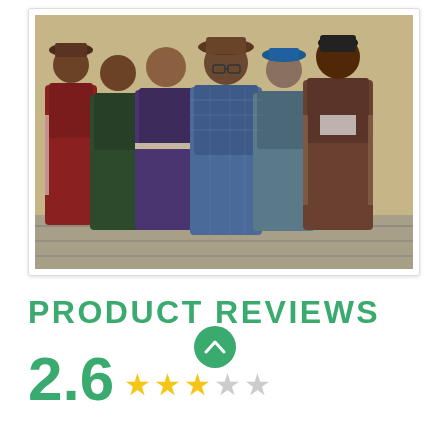[Figure (photo): Six men standing in front of a brick wall, all wearing plaid/tartan tracksuits and casual sportswear in various colors (blue, purple, brown, dark green, red). The man in the center wears a brown hat and glasses. One man wears a blue cap, another a black beanie.]
PRODUCT REVIEWS
2.6 ★★★☆☆